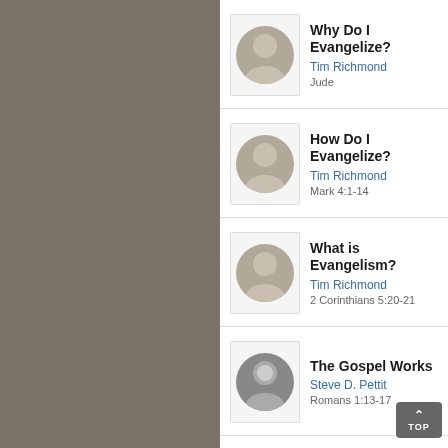Why Do I Evangelize? — Tim Richmond — Jude
How Do I Evangelize? — Tim Richmond — Mark 4:1-14
What is Evangelism? — Tim Richmond — 2 Corinthians 5:20-21
The Gospel Works — Steve D. Pettit — Romans 1:13-17
Does God Know You? — Alan Benson | Our Great Goo — 1 Peter 5